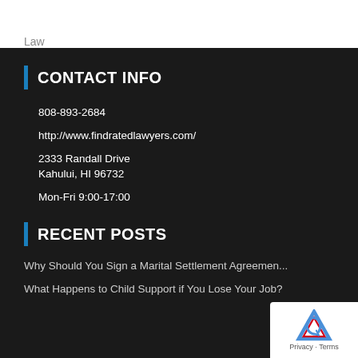Law
CONTACT INFO
808-893-2684
http://www.findratedlawyers.com/
2333 Randall Drive
Kahului, HI 96732
Mon-Fri 9:00-17:00
RECENT POSTS
Why Should You Sign a Marital Settlement Agreement
What Happens to Child Support if You Lose Your Job?